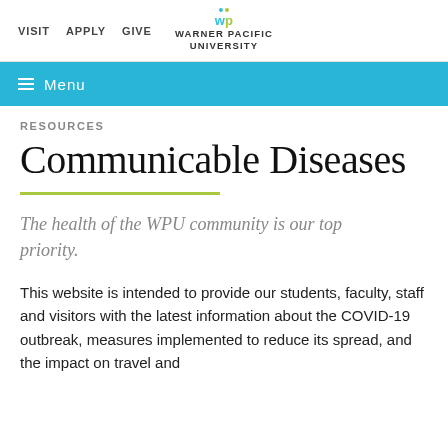VISIT  APPLY  GIVE  |  WARNER PACIFIC UNIVERSITY
Menu
RESOURCES
Communicable Diseases
The health of the WPU community is our top priority.
This website is intended to provide our students, faculty, staff and visitors with the latest information about the COVID-19 outbreak, measures implemented to reduce its spread, and the impact on travel and